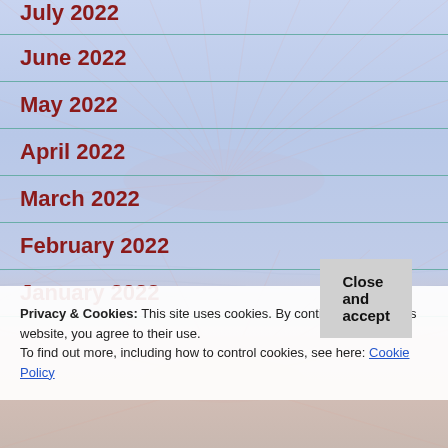July 2022
June 2022
May 2022
April 2022
March 2022
February 2022
January 2022
Privacy & Cookies: This site uses cookies. By continuing to use this website, you agree to their use. To find out more, including how to control cookies, see here: Cookie Policy
Close and accept